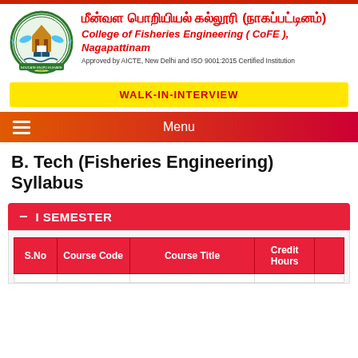[Figure (logo): Circular logo of Tamil Nadu Fisheries University / College of Fisheries Engineering with fish, book, and temple gate imagery, green border]
மீன்வள பொறியியல் கல்லூரி (நாகப்பட்டினம்)
College of Fisheries Engineering ( CoFE ), Nagapattinam
Approved by AICTE, New Delhi and ISO 9001:2015 Certified Institution
WALK-IN-INTERVIEW
Menu
B. Tech (Fisheries Engineering) Syllabus
I SEMESTER
| S.No | Course Code | Course Title | Credit Hours |  |
| --- | --- | --- | --- | --- |
|  |  |  |  |  |